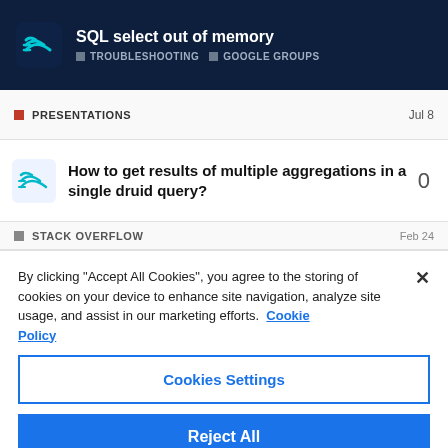SQL select out of memory — TROUBLESHOOTING · GOOGLE GROUPS
PRESENTATIONS — Jul 8
How to get results of multiple aggregations in a single druid query? — 0
STACK OVERFLOW — Feb 24
By clicking "Accept All Cookies", you agree to the storing of cookies on your device to enhance site navigation, analyze site usage, and assist in our marketing efforts. Cookie Policy
Cookies Settings
Reject All
Accept All Cookies